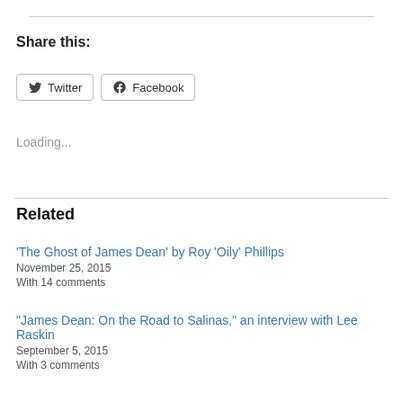Share this:
[Figure (other): Twitter and Facebook social share buttons]
Loading...
Related
‘The Ghost of James Dean’ by Roy ‘Oily’ Phillips
November 25, 2015
With 14 comments
“James Dean: On the Road to Salinas,” an interview with Lee Raskin
September 5, 2015
With 3 comments